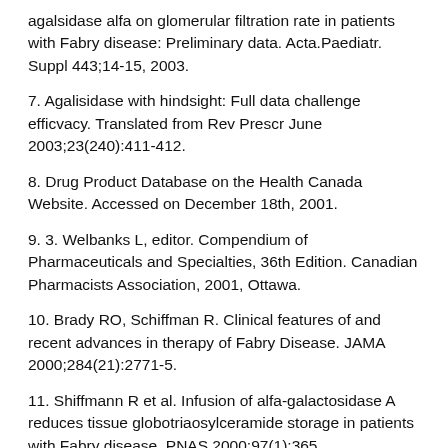agalsidase alfa on glomerular filtration rate in patients with Fabry disease: Preliminary data. Acta.Paediatr. Suppl 443;14-15, 2003.
7. Agalisidase with hindsight: Full data challenge efficvacy. Translated from Rev Prescr June 2003;23(240):411-412.
8. Drug Product Database on the Health Canada Website. Accessed on December 18th, 2001.
9. 3. Welbanks L, editor. Compendium of Pharmaceuticals and Specialties, 36th Edition. Canadian Pharmacists Association, 2001, Ottawa.
10. Brady RO, Schiffman R. Clinical features of and recent advances in therapy of Fabry Disease. JAMA 2000;284(21):2771-5.
11. Shiffmann R et al. Infusion of alfa-galactosidase A reduces tissue globotriaosylceramide storage in patients with Fabry disease. PNAS 2000;97(1):365
12. Eng C et al. A phase ½ clinical trial of enzyme